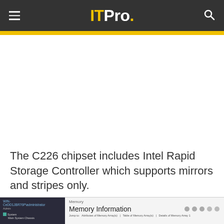ITPro.
[Figure (screenshot): Blank white advertisement or content area]
The C226 chipset includes Intel Rapid Storage Controller which supports mirrors and stripes only.
[Figure (screenshot): Windows memory information screen showing 'Memory Information' panel with left navigation tree showing System and Main System Chassis nodes]
[Figure (screenshot): Zoho CRM advertisement banner: 'Simply different CRM — Our software is modular & easy to customize']